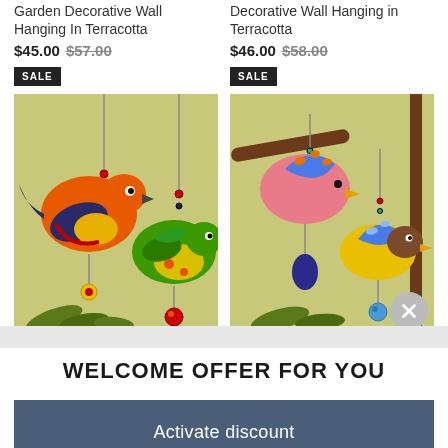Garden Decorative Wall Hanging In Terracotta
$45.00 $57.00
SALE
Decorative Wall Hanging in Terracotta
$46.00 $58.00
SALE
[Figure (photo): Two colorful terracotta bird wall hangings — orange bird and green bird — on a yellow-green background with grass motif]
[Figure (photo): Two colorful terracotta bird wall hangings — pink/blue bird and yellow/blue bird — on a yellow-green background with grass motif and a close button]
WELCOME OFFER FOR YOU
Activate discount